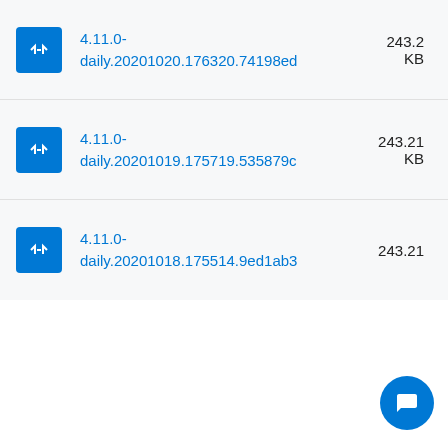4.11.0-daily.20201020.176320.74198ed 243.2 KB
4.11.0-daily.20201019.175719.535879c 243.21 KB
4.11.0-daily.20201018.175514.9ed1ab3 243.21 KB